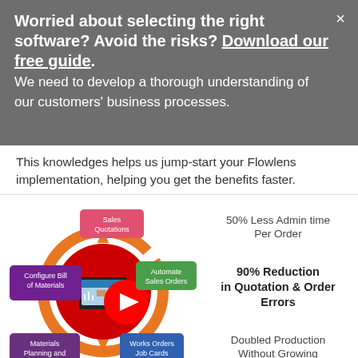Worried about the risks? Download our free guide. We need to develop a thorough understanding of our customers' business processes.
This knowledges helps us jump-start your Flowlens implementation, helping you get the benefits faster.
[Figure (infographic): Flowlens product cycle diagram showing Sales Quotations, Automate Sales Orders, Works Orders Job Cards, Materials Planning and Purchase, Configure Bill of Materials arranged in a circular flow with orange arrows around a central device image. YouTube play button overlay. Flowlens logo at bottom.]
50% Less Admin time Per Order
90% Reduction in Quotation & Order Errors
Doubled Production Without Growing Procurement HR
We are passionate about ensuring your business adopts our products successfully. For a small business, the distraction of implementing new systems can be achieving a lot, and...